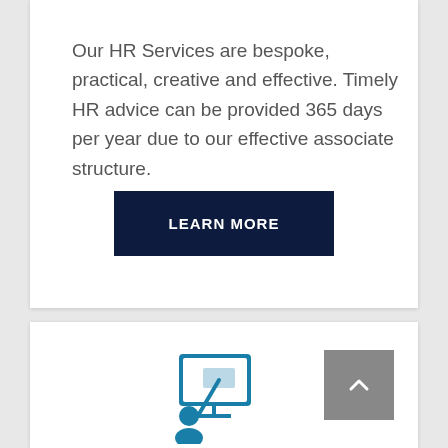Our HR Services are bespoke, practical, creative and effective. Timely HR advice can be provided 365 days per year due to our effective associate structure.
[Figure (other): Dark navy blue rectangular button with white uppercase text reading 'LEARN MORE']
[Figure (illustration): Teal/blue icon of a person presenting at a whiteboard/display screen]
[Figure (other): Grey square scroll-to-top button with a white upward-pointing chevron/caret]